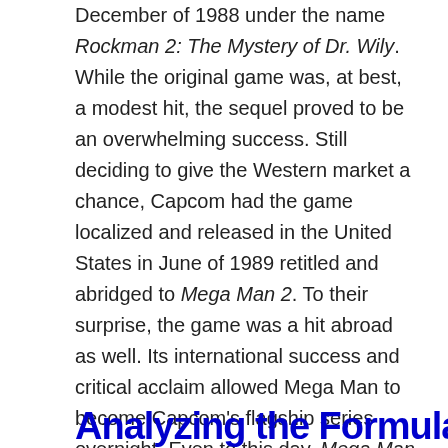December of 1988 under the name Rockman 2: The Mystery of Dr. Wily. While the original game was, at best, a modest hit, the sequel proved to be an overwhelming success. Still deciding to give the Western market a chance, Capcom had the game localized and released in the United States in June of 1989 retitled and abridged to Mega Man 2. To their surprise, the game was a hit abroad as well. Its international success and critical acclaim allowed Mega Man to become Capcom's flagship series overnight. Even to this day, Mega Man 2 is considered one of the greatest games ever made as well as the standard to which a sequel should strive to achieve. How exactly was a sequel to a game many considered middle-of-the-road able to give its title character a new lease on life?
Analyzing the Formula...